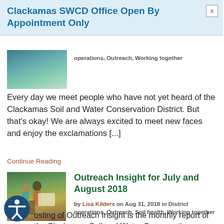Clackamas SWCD Office Open By Appointment Only
operations, Outreach, Working together
Every day we meet people who have not yet heard of the Clackamas Soil and Water Conservation District. But that’s okay! We are always excited to meet new faces and enjoy the exclamations [...]
Continue Reading
[Figure (photo): Thumbnail photo of a scenic water/rock landscape]
Outreach Insight for July and August 2018
by Lisa Kilders on Aug 31, 2018 in District operations, Outreach, Soil health, Working together
[Figure (photo): Photo of people outdoors, one person wearing a hat, looking at a display board, with green vegetation in background]
osting of Outreach Insight is the monthly report of the Clackamas Soil and Water Conservation District’s